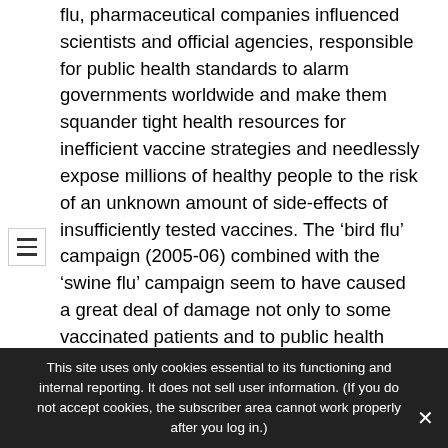flu, pharmaceutical companies influenced scientists and official agencies, responsible for public health standards to alarm governments worldwide and make them squander tight health resources for inefficient vaccine strategies and needlessly expose millions of healthy people to the risk of an unknown amount of side-effects of insufficiently tested vaccines. The ‘bird flu’ campaign (2005-06) combined with the ‘swine flu’ campaign seem to have caused a great deal of damage not only to some vaccinated patients and to public health budgets, but to the credibility and accountability of important international health-agencies.”
Here at unknowncountry.com, we aim to keep you up-to-date on everything (and everything else)! Please
This site uses only cookies essential to its functioning and internal reporting. It does not sell user information. (If you do not accept cookies, the subscriber area cannot work properly after you log in.)